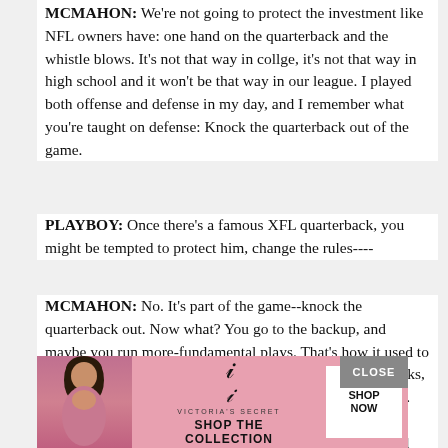MCMAHON: We're not going to protect the investment like NFL owners have: one hand on the quarterback and the whistle blows. It's not that way in collge, it's not that way in high school and it won't be that way in our league. I played both offense and defense in my day, and I remember what you're taught on defense: Knock the quarterback out of the game.
PLAYBOY: Once there's a famous XFL quarterback, you might be tempted to protect him, change the rules----
MCMAHON: No. It's part of the game--knock the quarterback out. Now what? You go to the backup, and maybe you run more-fundamental plays. That's how it used to be in the NFL. It changes things: When you draft your backs, you'll want guys who are versatile, who can run and throw. The NFL would have Mr. and Mrs. Americ… that… he NFL… MVP who proved my point. For years no NFL team would give
[Figure (advertisement): Victoria's Secret advertisement overlay with model photo on left, VS logo and 'SHOP THE COLLECTION' text in center, and 'SHOP NOW' button on right. A 'CLOSE' button appears at top right.]